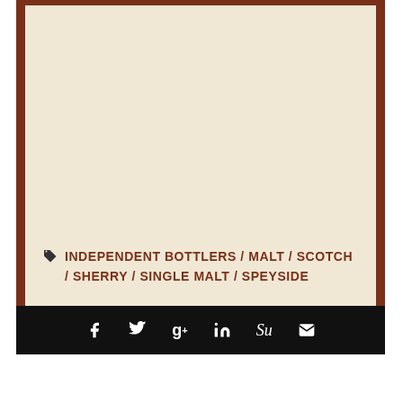INDEPENDENT BOTTLERS / MALT / SCOTCH / SHERRY / SINGLE MALT / SPEYSIDE
Social share icons: Facebook, Twitter, Google+, LinkedIn, StumbleUpon, Email